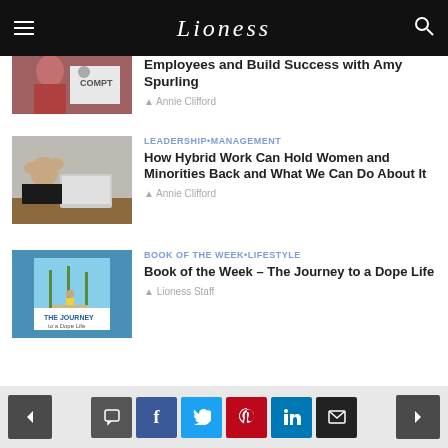Lioness
[Figure (photo): Partial article card with thumbnail showing a woman in red and COMPT logo, cropped at top]
Employees and Build Success with Amy Spurling
Annie Clifford
[Figure (photo): Woman with head in hands stressed at a laptop]
LEADERSHIP•MANAGEMENT
How Hybrid Work Can Hold Women and Minorities Back and What We Can Do About It
Annie Clifford
[Figure (photo): Book cover with a girl in yellow dress on a path of palm trees, blue background]
BOOK OF THE WEEK•LIFESTYLE
Book of the Week – The Journey to a Dope Life
Lioness Staff
Navigation and social sharing buttons